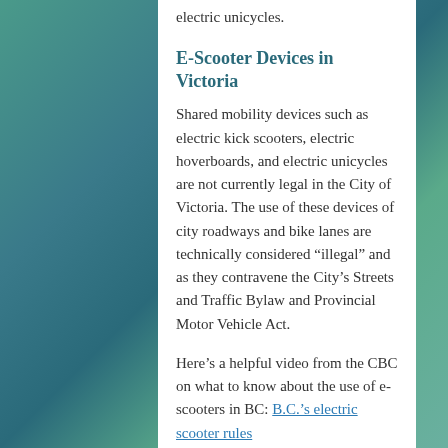electric unicycles.
E-Scooter Devices in Victoria
Shared mobility devices such as electric kick scooters, electric hoverboards, and electric unicycles are not currently legal in the City of Victoria. The use of these devices of city roadways and bike lanes are technically considered “illegal” and as they contravene the City’s Streets and Traffic Bylaw and Provincial Motor Vehicle Act.
Here’s a helpful video from the CBC on what to know about the use of e-scooters in BC: B.C.’s electric scooter rules